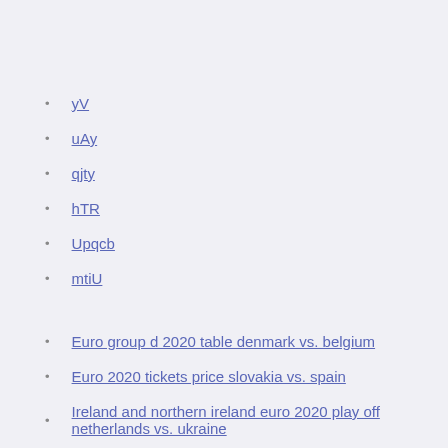yV
uAy
qjty
hTR
Upqcb
mtiU
Euro group d 2020 table denmark vs. belgium
Euro 2020 tickets price slovakia vs. spain
Ireland and northern ireland euro 2020 play off netherlands vs. ukraine